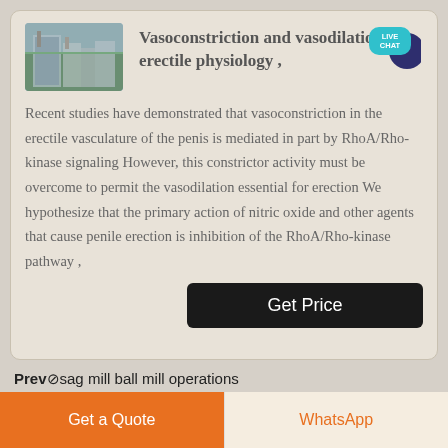[Figure (photo): Industrial machinery or equipment photograph showing large metal structures in a factory/industrial setting]
Vasoconstriction and vasodilation in erectile physiology ,
[Figure (other): Live Chat speech bubble icon with dark navy circle and teal rounded rectangle showing LIVE CHAT text]
Recent studies have demonstrated that vasoconstriction in the erectile vasculature of the penis is mediated in part by RhoA/Rho-kinase signaling However, this constrictor activity must be overcome to permit the vasodilation essential for erection We hypothesize that the primary action of nitric oxide and other agents that cause penile erection is inhibition of the RhoA/Rho-kinase pathway ,
Get Price
Prev◊sag mill ball mill operations
Get a Quote
WhatsApp